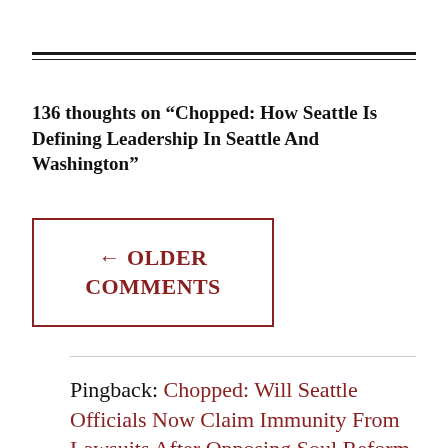136 thoughts on “Chopped: How Seattle Is Defining Leadership In Seattle And Washington”
← OLDER COMMENTS
Pingback: Chopped: Will Seattle Officials Now Claim Immunity From Lawsuits After Opposing Soul Reform For Poli…